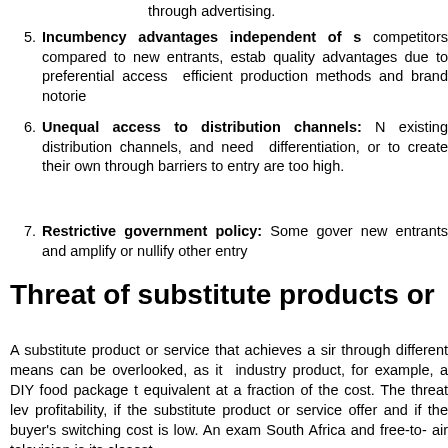through advertising.
5. Incumbency advantages independent of s... competitors compared to new entrants, estab... quality advantages due to preferential access ... efficient production methods and brand notorie...
6. Unequal access to distribution channels: N... existing distribution channels, and need ... differentiation, or to create their own through... barriers to entry are too high.
7. Restrictive government policy: Some gover... new entrants and amplify or nullify other entry...
Threat of substitute products or
A substitute product or service that achieves a sir... through different means can be overlooked, as it... industry product, for example, a DIY food package t... equivalent at a fraction of the cost. The threat lev... profitability, if the substitute product or service offer... and if the buyer's switching cost is low. An exam... South Africa and free-to- air television is its closest...